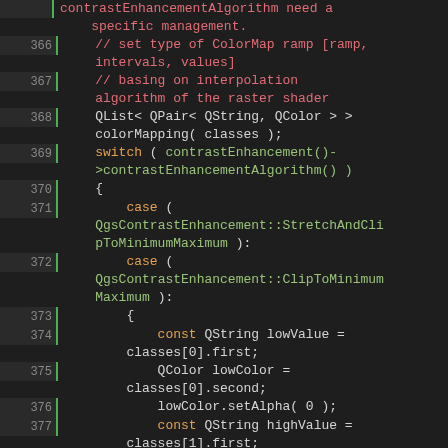[Figure (screenshot): Source code screenshot showing C++ code lines 366-382 with syntax highlighting. Comments in red, keywords like switch/case/const in orange/green, identifiers in green/white on dark background.]